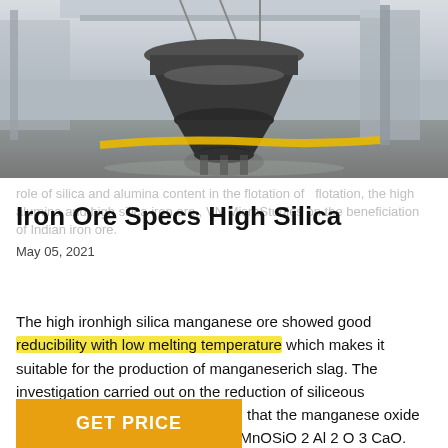[Figure (photo): Industrial machinery photo showing a large cone crusher or mill equipment on a factory floor with yellow safety markings on the floor]
role of silica and alumina content in the flotation of  flotation, the high alumina and high silica iron ore,, VN MisraStudies on the beneficiation of Indian iron ore.
Iron Ore Specs High Silica
May 05, 2021
The high ironhigh silica manganese ore showed good reducibility with low melting temperature which makes it suitable for the production of manganeserich slag. The investigation carried out on the reduction of siliceous manganese ore by graphite indied that the manganese oxide is firstly dissolved into the molten MnOSiO 2 Al 2 O 3 CaO.
GET PRICE